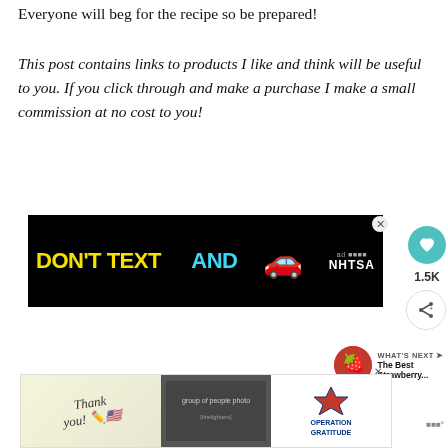Everyone will beg for the recipe so be prepared!
This post contains links to products I like and think will be useful to you. If you click through and make a purchase I make a small commission at no cost to you!
[Figure (other): Advertisement banner: DON'T TEXT AND [car emoji] NHTSA anti-texting driving campaign ad on black background]
[Figure (other): WHAT'S NEXT -> The Best Strawberry... promotional widget with strawberry thumbnail]
[Figure (other): Operation Gratitude thank you advertisement banner at bottom of page]
1.5K